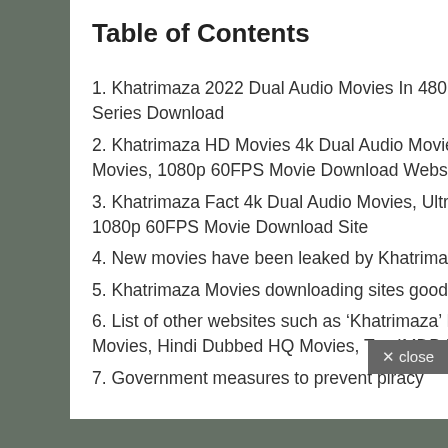Table of Contents
1. Khatrimaza 2022 Dual Audio Movies In 480p Movies, 720p Movies, 300mb Movies, Hindi Dubbed Series Download
2. Khatrimaza HD Movies 4k Dual Audio Movies, Ultra HD movies, 1080p Movies, 2160 Movies, 2160p Movies, 1080p 60FPS Movie Download Website information
3. Khatrimaza Fact 4k Dual Audio Movies, Ultra HD movies, 1080p Movies, 2160 Movies, 2160p Movies, 1080p 60FPS Movie Download Site
4. New movies have been leaked by Khatrimaza
5. Khatrimaza Movies downloading sites good or bad
6. List of other websites such as ‘Khatrimaza’ Movies Download 4k Dual Audio Movies, 1080p Dual Audio Movies, Hindi Dubbed HQ Movies, Top IMDB Movies website
7. Government measures to prevent piracy